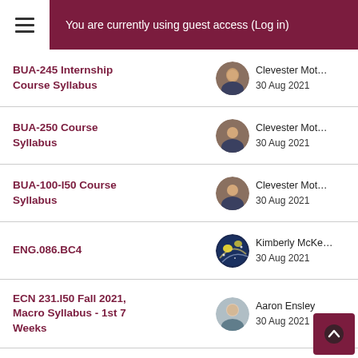You are currently using guest access (Log in)
BUA-245 Internship Course Syllabus
BUA-250 Course Syllabus
BUA-100-I50 Course Syllabus
ENG.086.BC4
ECN 231.I50 Fall 2021, Macro Syllabus - 1st 7 Weeks